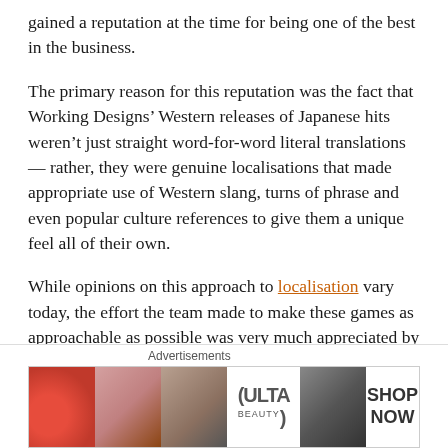gained a reputation at the time for being one of the best in the business.
The primary reason for this reputation was the fact that Working Designs’ Western releases of Japanese hits weren’t just straight word-for-word literal translations — rather, they were genuine localisations that made appropriate use of Western slang, turns of phrase and even popular culture references to give them a unique feel all of their own.
While opinions on this approach to localisation vary today, the effort the team made to make these games as approachable as possible was very much appreciated by the audience of the time.
This article originally published for a certain Editor 2024
Advertisements
[Figure (photo): Advertisement banner for ULTA Beauty showing cosmetic-themed imagery with text SHOP NOW]